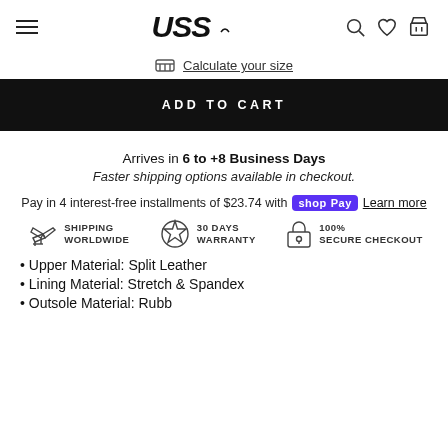USS logo with navigation icons (hamburger menu, search, wishlist, cart)
Calculate your size
ADD TO CART
Arrives in 6 to +8 Business Days
Faster shipping options available in checkout.
Pay in 4 interest-free installments of $23.74 with shop Pay Learn more
[Figure (infographic): Three trust badges: Shipping Worldwide (airplane icon), 30 Days Warranty (star badge icon), 100% Secure Checkout (lock icon)]
Upper Material: Split Leather
Lining Material: Stretch & Spandex
Outsole Material: Rubber